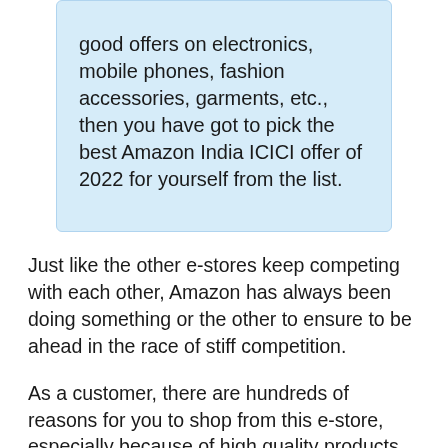good offers on electronics, mobile phones, fashion accessories, garments, etc., then you have got to pick the best Amazon India ICICI offer of 2022 for yourself from the list.
Just like the other e-stores keep competing with each other, Amazon has always been doing something or the other to ensure to be ahead in the race of stiff competition.
As a customer, there are hundreds of reasons for you to shop from this e-store, especially because of high quality products and good services of the website.
You find it easy to trust the name of Amazon